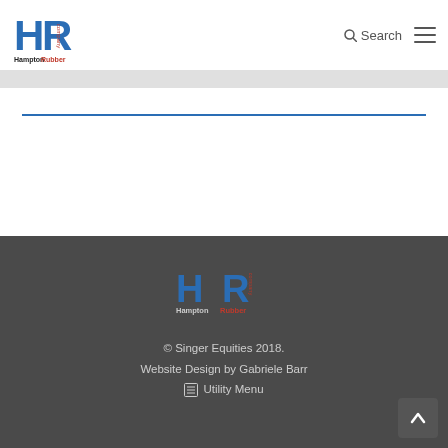Hampton Rubber Company — Search navigation header
[Figure (logo): Hampton Rubber Company HR logo - footer version]
© Singer Equities 2018.
Website Design by Gabriele Barr
☰ Utility Menu